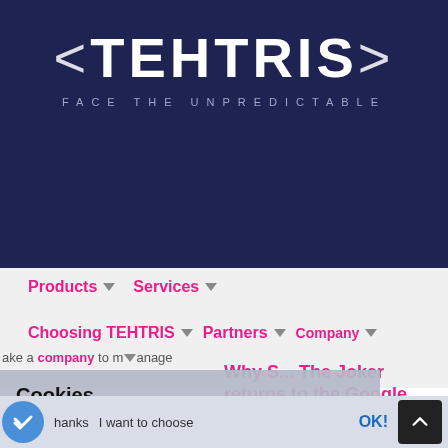[Figure (logo): TEHTRIS logo with tagline FACE THE UNPREDICTABLE on dark navy background]
Products ▾   Services ▾
Choosing TEHTRIS ▾   Partners ▾   Company ▾
...ake a company to manage
Cookies
...ted to be sure you were actually interested in our
Category: Cyber
Why S... The Joker returns to the Google Play Store
Consents certified by axeptio
Thanks   I want to choose   OK!